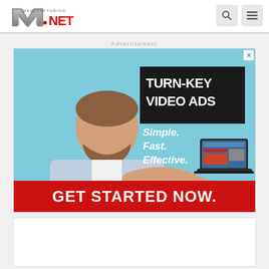Manufacturing.net header with logo and navigation icons
Advertisement
[Figure (photo): Advertisement banner: Man with beard in grey shirt pointing at a laptop. Text reads TURN-KEY VIDEO ADS. Simple. Fast. Effective. GET STARTED NOW.]